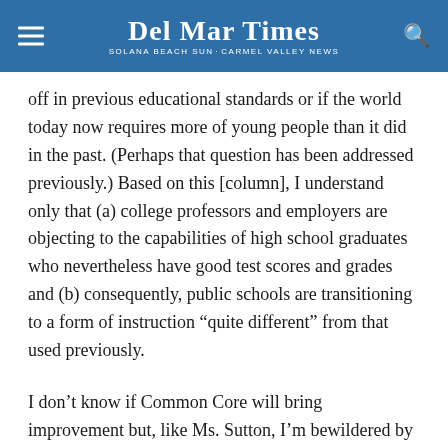Del Mar Times — Solana Beach Sun-Carmel Valley News
off in previous educational standards or if the world today now requires more of young people than it did in the past. (Perhaps that question has been addressed previously.) Based on this [column], I understand only that (a) college professors and employers are objecting to the capabilities of high school graduates who nevertheless have good test scores and grades and (b) consequently, public schools are transitioning to a form of instruction “quite different” from that used previously.
I don’t know if Common Core will bring improvement but, like Ms. Sutton, I’m bewildered by the news that